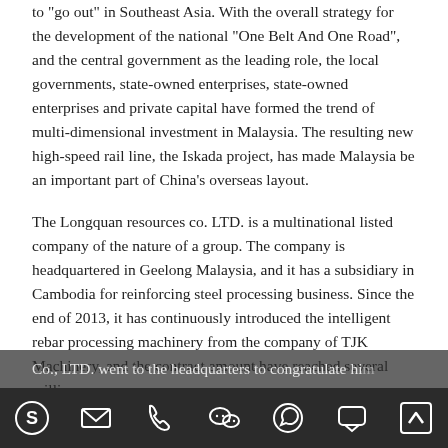to "go out" in Southeast Asia. With the overall strategy for the development of the national "One Belt And One Road", and the central government as the leading role, the local governments, state-owned enterprises, state-owned enterprises and private capital have formed the trend of multi-dimensional investment in Malaysia. The resulting new high-speed rail line, the Iskada project, has made Malaysia be an important part of China's overseas layout.
The Longquan resources co. LTD. is a multinational listed company of the nature of a group. The company is headquartered in Geelong Malaysia, and it has a subsidiary in Cambodia for reinforcing steel processing business. Since the end of 2013, it has continuously introduced the intelligent rebar processing machinery from the company of TJK Machinery, and the contract amount have reached several million yuan.
In order to celebrate the 60th anniversary of the group, Zhang xin, the executive vice President of the TJK Machinery (Tianjin) Co., LTD. went to the headquarters to congratulate him.
Social media icon bar